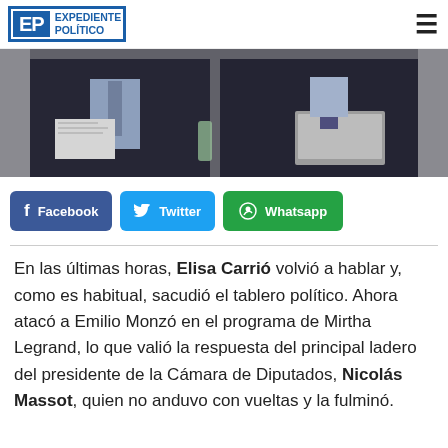EP EXPEDIENTE POLÍTICO
[Figure (photo): Two men in suits seated at a table, one with a laptop, parliamentary or official setting]
[Figure (infographic): Social sharing buttons: Facebook, Twitter, Whatsapp]
En las últimas horas, Elisa Carrió volvió a hablar y, como es habitual, sacudió el tablero político. Ahora atacó a Emilio Monzó en el programa de Mirtha Legrand, lo que valió la respuesta del principal ladero del presidente de la Cámara de Diputados, Nicolás Massot, quien no anduvo con vueltas y la fulminó.